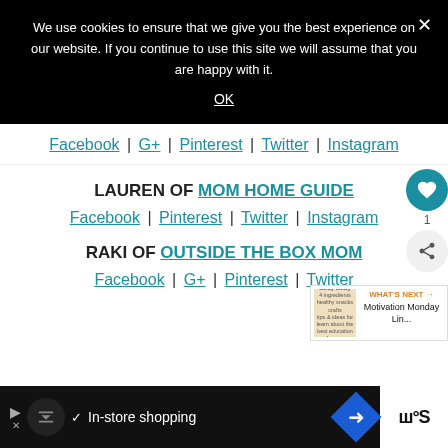We use cookies to ensure that we give you the best experience on our website. If you continue to use this site we will assume that you are happy with it.
OK
Facebook | G+ | Pinterest | Twitter | Instagram
LAUREN OF MOM HOME GUIDE
Facebook | Pinterest | Twitter | Instagram
RAKI OF OUTSIDE THE BOX MOM
Facebook | G+ | Pinterest | Twitter
WHAT'S NEXT → Motivation Monday Lin...
In-store shopping